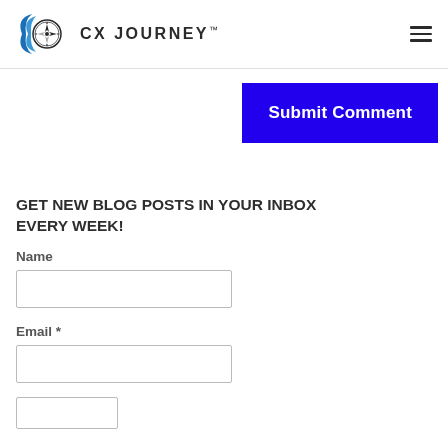CX JOURNEY™
[Figure (logo): CX Journey logo with compass/wave icon and text CX JOURNEY™]
Submit Comment
GET NEW BLOG POSTS IN YOUR INBOX EVERY WEEK!
Name
Email *